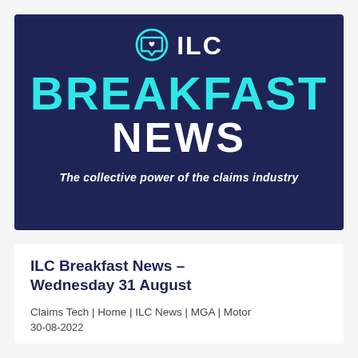[Figure (logo): ILC Breakfast News banner with navy blue background, teal ILC logo (chat bubble with heart icon), large teal BREAKFAST text, white NEWS text, and italic tagline 'The collective power of the claims industry']
ILC Breakfast News – Wednesday 31 August
Claims Tech | Home | ILC News | MGA | Motor
30-08-2022